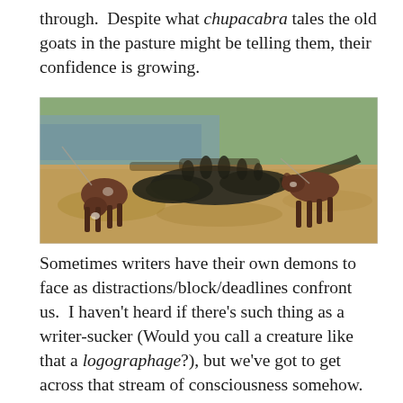through.  Despite what chupacabra tales the old goats in the pasture might be telling them, their confidence is growing.
[Figure (photo): Two brown goats interacting with a large alligator on a sandy ground with brush and water in the background.]
Sometimes writers have their own demons to face as distractions/block/deadlines confront us.  I haven't heard if there's such thing as a writer-sucker (Would you call a creature like that a logographage?), but we've got to get across that stream of consciousness somehow.